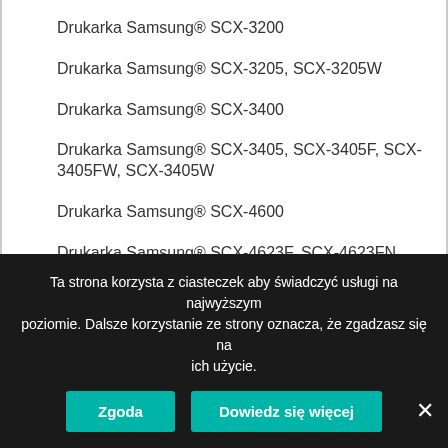Drukarka Samsung® SCX-3200
Drukarka Samsung® SCX-3205, SCX-3205W
Drukarka Samsung® SCX-3400
Drukarka Samsung® SCX-3405, SCX-3405F, SCX-3405FW, SCX-3405W
Drukarka Samsung® SCX-4600
Drukarka Samsung® SCX-4623F, SCX-4623FN, SCX-4623FW
Drukarka Samsung® SCX-4705ND
Drukarka Samsung® SCX-4720F, SCX-4720FN
Drukarka Samsung® SCX-4725F, SCX-4725FN
Ta strona korzysta z ciasteczek aby świadczyć usługi na najwyższym poziomie. Dalsze korzystanie ze strony oznacza, że zgadzasz się na ich użycie.